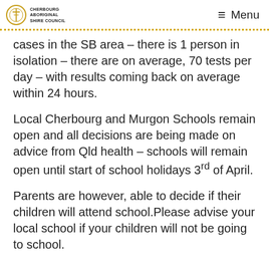Cherbourg Aboriginal Shire Council — Menu
cases in the SB area – there is 1 person in isolation – there are on average, 70 tests per day – with results coming back on average within 24 hours.
Local Cherbourg and Murgon Schools remain open and all decisions are being made on advice from Qld health – schools will remain open until start of school holidays 3rd of April.
Parents are however, able to decide if their children will attend school.Please advise your local school if your children will not be going to school.